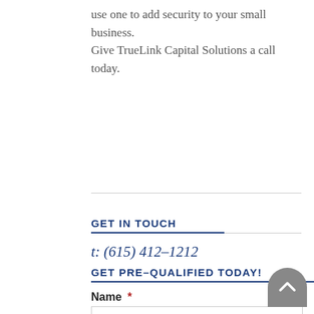use one to add security to your small business. Give TrueLink Capital Solutions a call today.
GET IN TOUCH
t: (615) 412-1212
GET PRE-QUALIFIED TODAY!
Name *